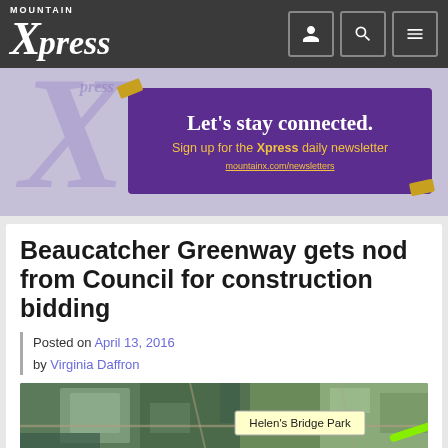Mountain Xpress
[Figure (photo): Advertisement banner: Let's stay connected. Sign up for the Xpress daily newsletter. mountainx.com/newsletters]
Beaucatcher Greenway gets nod from Council for construction bidding
Posted on April 13, 2016 by Virginia Daffron
[Figure (map): Aerial/satellite map image showing the Beaucatcher Greenway area with a label 'Helen's Bridge Park' and a green highlighted path]